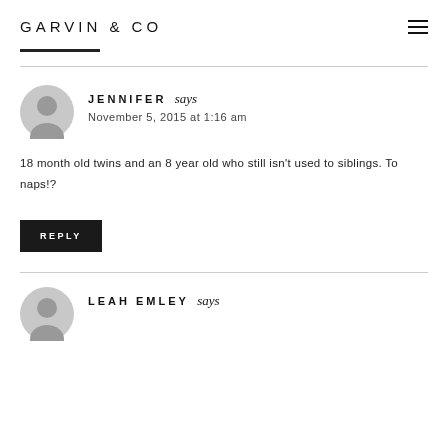GARVIN & CO
JENNIFER says
November 5, 2015 at 1:16 am
18 month old twins and an 8 year old who still isn't used to siblings. To naps!?
REPLY
LEAH EMLEY says